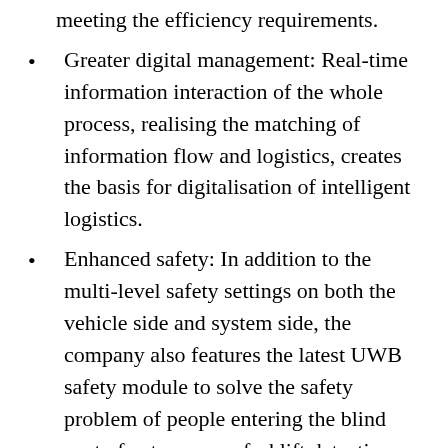Greater digital management: Real-time information interaction of the whole process, realising the matching of information flow and logistics, creates the basis for digitalisation of intelligent logistics.
Enhanced safety: In addition to the multi-level safety settings on both the vehicle side and system side, the company also features the latest UWB safety module to solve the safety problem of people entering the blind spot of autonomous forklift detection or sudden intrusion, avoiding the safety risk in advance and providing the highest level of protection for people.
HKSTP's Head of Re-industrialisation noted that